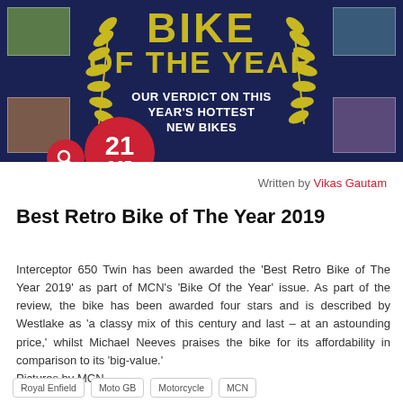[Figure (photo): MCN Bike of the Year magazine cover banner with yellow laurel leaves on dark navy background, showing 'BIKE OF THE YEAR' headline and 'OUR VERDICT ON THIS YEAR'S HOTTEST NEW BIKES' text, with small motorcycle photos at corners and a red circular date badge showing '21 OCT']
Written by Vikas Gautam
Best Retro Bike of The Year 2019
Interceptor 650 Twin has been awarded the ‘Best Retro Bike of The Year 2019’ as part of MCN’s ‘Bike Of the Year’ issue. As part of the review, the bike has been awarded four stars and is described by Westlake as ‘a classy mix of this century and last – at an astounding price,’ whilst Michael Neeves praises the bike for its affordability in comparison to its ‘big-value.’
Pictures by MCN.
Royal Enfield
Moto GB
Motorcycle
MCN